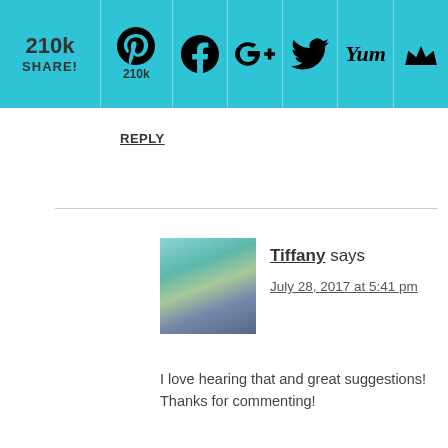[Figure (screenshot): Social share bar showing 210k share count with Pinterest (210k), Facebook, Google+, Twitter, Yummly, and email/bookmark icons on teal/cyan background]
REPLY
[Figure (photo): Avatar photo of Tiffany - woman in teal jacket]
Tiffany says
July 28, 2017 at 5:41 pm
I love hearing that and great suggestions! Thanks for commenting!
REPLY
[Figure (photo): Default gray avatar silhouette for Jessie Fernandez]
Jessie Fernandez says
November 5, 2017 at 12:49 pm